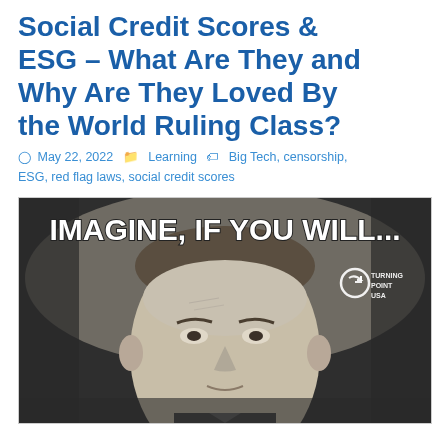Social Credit Scores & ESG – What Are They and Why Are They Loved By the World Ruling Class?
May 22, 2022   Learning   Big Tech, censorship, ESG, red flag laws, social credit scores
[Figure (photo): Meme image showing a black-and-white photo of a man's face with text 'IMAGINE, IF YOU WILL...' in bold white letters at the top, and a Turning Point USA logo in the upper right corner.]